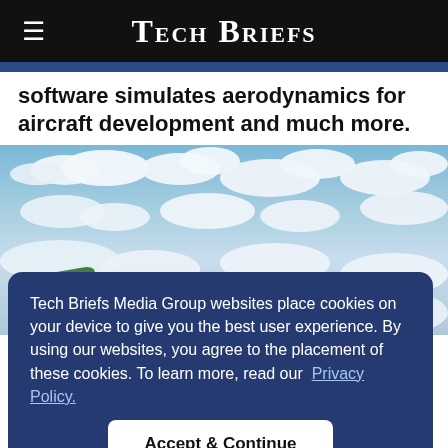Tech Briefs
software simulates aerodynamics for aircraft development and much more.
[Figure (photo): Aerial photo showing an aircraft wing with clouds and sky in the background]
Tech Briefs Media Group websites place cookies on your device to give you the best user experience. By using our websites, you agree to the placement of these cookies. To learn more, read our Privacy Policy.
Accept & Continue
parts most prone to wear on many of its flagship planes, such as the C-5